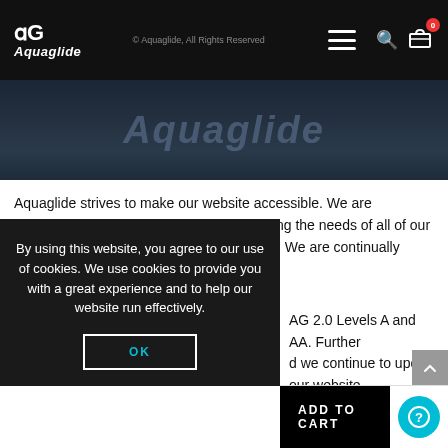Aquaglide — Navigation header with logo, hamburger menu, search and cart icons
[Figure (screenshot): Aquaglide hero banner with italic brand name on dark blue water background]
Aquaglide strives to make our website accessible. We are committed to diversity, inclusion and meeting the needs of all of our customers, including those with disabilities. We are continually improving our website to comply with WCAG 2.0 Levels A and AA. Further ... and we continue to update our website ... ime, if the format on any material on ... ility to access the information, please ... you have questions or comments
By using this website, you agree to our use of cookies. We use cookies to provide you with a great experience and to help our website run effectively.